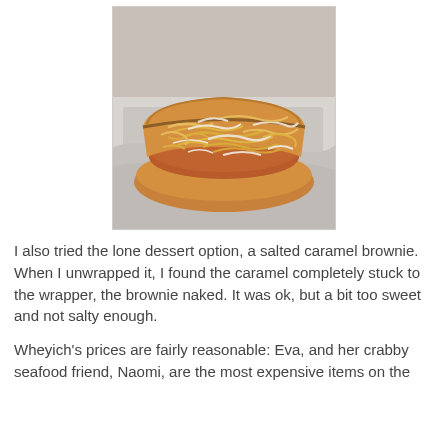[Figure (photo): A close-up photograph of a hot dog or sausage in a bun, topped with a generous amount of shredded cheese (white and yellow/orange mix), resting on crinkled white paper.]
I also tried the lone dessert option, a salted caramel brownie. When I unwrapped it, I found the caramel completely stuck to the wrapper, the brownie naked. It was ok, but a bit too sweet and not salty enough.
Wheyich's prices are fairly reasonable: Eva, and her crabby seafood friend, Naomi, are the most expensive items on the